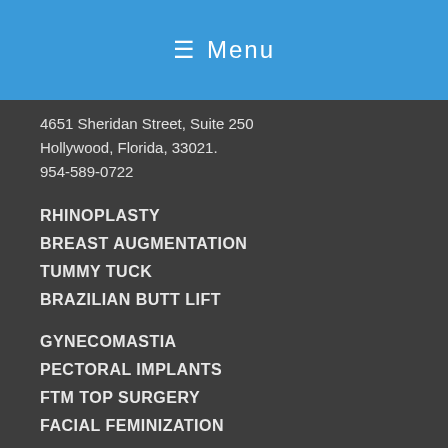≡ Menu
4651 Sheridan Street, Suite 250
Hollywood, Florida, 33021.
954-589-0722
RHINOPLASTY
BREAST AUGMENTATION
TUMMY TUCK
BRAZILIAN BUTT LIFT
GYNECOMASTIA
PECTORAL IMPLANTS
FTM TOP SURGERY
FACIAL FEMINIZATION